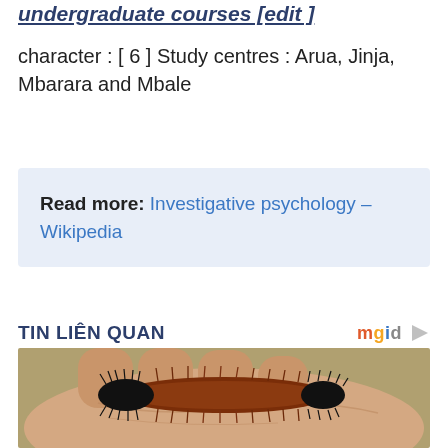undergraduate courses [edit ]
character : [ 6 ] Study centres : Arua, Jinja, Mbarara and Mbale
Read more: Investigative psychology – Wikipedia
TIN LIÊN QUAN
[Figure (photo): A woolly bear caterpillar (black and rusty-brown fuzzy caterpillar) resting on an open human hand, outdoor background.]